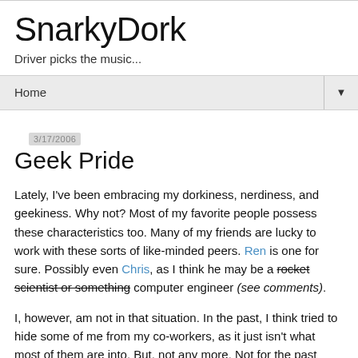SnarkyDork
Driver picks the music...
Home ▼
3/17/2006
Geek Pride
Lately, I've been embracing my dorkiness, nerdiness, and geekiness. Why not? Most of my favorite people possess these characteristics too. Many of my friends are lucky to work with these sorts of like-minded peers. Ren is one for sure. Possibly even Chris, as I think he may be a rocket scientist or something computer engineer (see comments).
I, however, am not in that situation. In the past, I think tried to hide some of me from my co-workers, as it just isn't what most of them are into. But, not any more. Not for the past